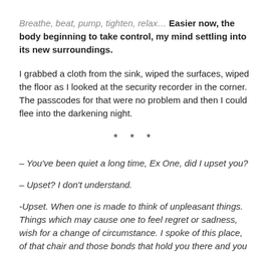Breathe, beat, pump, tighten, relax… Easier now, the body beginning to take control, my mind settling into its new surroundings.
I grabbed a cloth from the sink, wiped the surfaces, wiped the floor as I looked at the security recorder in the corner. The passcodes for that were no problem and then I could flee into the darkening night.
* * *
– You've been quiet a long time, Ex One, did I upset you?
– Upset? I don't understand.
-Upset. When one is made to think of unpleasant things. Things which may cause one to feel regret or sadness, wish for a change of circumstance. I spoke of this place, of that chair and those bonds that hold you there and you